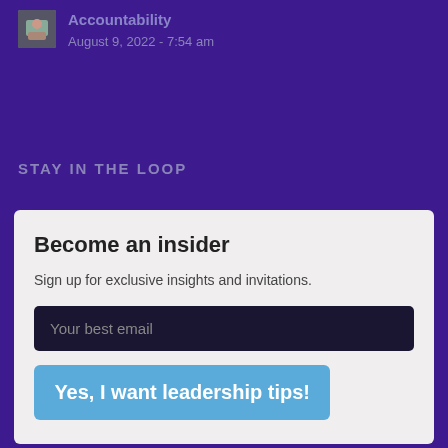[Figure (photo): Small thumbnail image of a person or article cover]
Accountability
August 9, 2022 - 7:54 am
STAY IN THE LOOP
Become an insider
Sign up for exclusive insights and invitations.
Your best email
Yes, I want leadership tips!